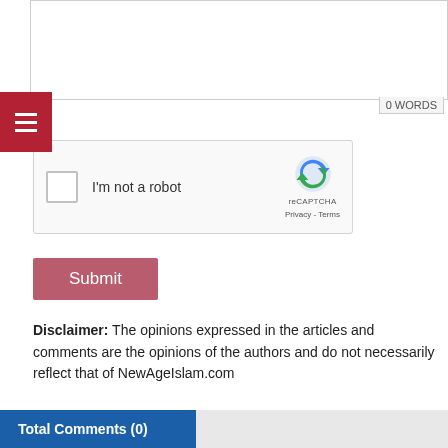[Figure (screenshot): Text input area (textarea) with border, showing '0 WORDS' count at bottom right]
[Figure (other): Red hamburger menu button with three horizontal white lines]
[Figure (other): reCAPTCHA widget with checkbox, 'I'm not a robot' text, reCAPTCHA logo, Privacy and Terms links]
[Figure (other): Pink/red Submit button]
Disclaimer: The opinions expressed in the articles and comments are the opinions of the authors and do not necessarily reflect that of NewAgeIslam.com
Total Comments (0)